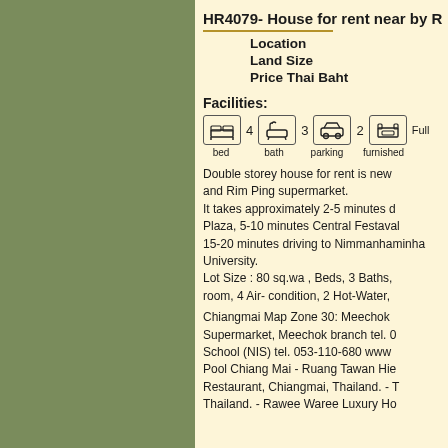HR4079- House for rent near by R
Location
Land Size
Price Thai Baht
Facilities:
bed 4  bath 3  parking 2  furnished Full
Double storey house for rent is new and Rim Ping supermarket. It takes approximately 2-5 minutes d Plaza, 5-10 minutes Central Festaval, 15-20 minutes driving to Nimmanhaminda University. Lot Size : 80 sq.wa , Beds, 3 Baths, room, 4 Air- condition, 2 Hot-Water,
Chiangmai Map Zone 30: Meechok Supermarket, Meechok branch tel. 0 School (NIS) tel. 053-110-680 www Pool Chiang Mai - Ruang Tawan Hie Restaurant, Chiangmai, Thailand. - T Thailand. - Rawee Waree Luxury Ho